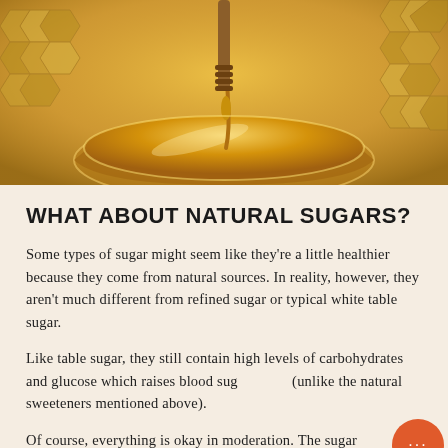[Figure (photo): A glass bowl filled with golden honey, with a wooden honey dipper dripping honey into it. Honeycomb pieces are visible in the background on a warm beige surface.]
WHAT ABOUT NATURAL SUGARS?
Some types of sugar might seem like they're a little healthier because they come from natural sources. In reality, however, they aren't much different from refined sugar or typical white table sugar.
Like table sugar, they still contain high levels of carbohydrates and glucose which raises blood sugar (unlike the natural sweeteners mentioned above).
Of course, everything is okay in moderation. The sugar